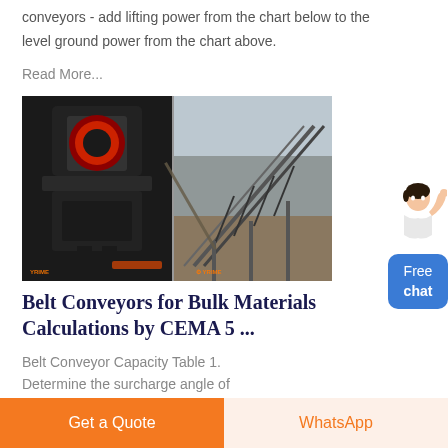conveyors - add lifting power from the chart below to the level ground power from the chart above.
Read More...
[Figure (photo): Two industrial conveyor/crusher images side by side. Left: a vertical shaft impact crusher machine in a factory setting. Right: inclined belt conveyors at a mining or quarry site.]
Belt Conveyors for Bulk Materials Calculations by CEMA 5 ...
Belt Conveyor Capacity Table 1.
Determine the surcharge angle of
[Figure (illustration): Customer service representative illustration with free chat button widget in blue.]
Free chat
Get a Quote
WhatsApp